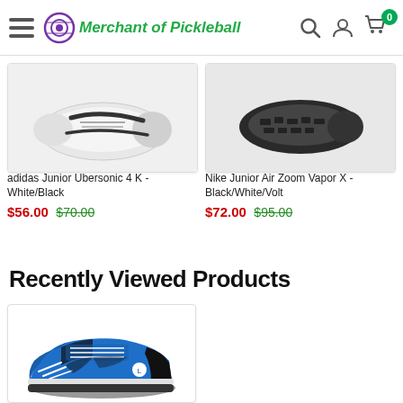Merchant of Pickleball
[Figure (photo): adidas Junior Ubersonic 4 K shoe - White/Black colorway, bottom/sole view]
adidas Junior Ubersonic 4 K - White/Black
$56.00 $70.00
[Figure (photo): Nike Junior Air Zoom Vapor X shoe - Black/White/Volt colorway, sole view]
Nike Junior Air Zoom Vapor X - Black/White/Volt
$72.00 $95.00
Recently Viewed Products
[Figure (photo): Blue/black/white junior tennis shoe - Lotto brand, side view showing laces and Lotto logo]